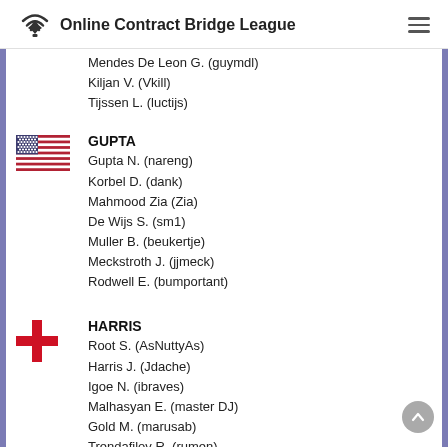Online Contract Bridge League
Mendes De Leon G. (guymdl)
Kiljan V. (Vkill)
Tijssen L. (luctijs)
GUPTA
Gupta N. (nareng)
Korbel D. (dank)
Mahmood Zia (Zia)
De Wijs S. (sm1)
Muller B. (beukertje)
Meckstroth J. (jjmeck)
Rodwell E. (bumportant)
HARRIS
Root S. (AsNuttyAs)
Harris J. (Jdache)
Igoe N. (ibraves)
Malhasyan E. (master DJ)
Gold M. (marusab)
Trendafilov R. (rumen)
Isporski V. (smilevy)